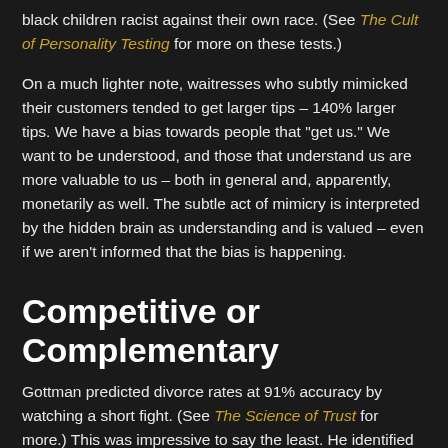black children racist against their own race. (See The Cult of Personality Testing for more on these tests.)
On a much lighter note, waitresses who subtly mimicked their customers tended to get larger tips – 140% larger tips. We have a bias towards people that "get us." We want to be understood, and those that understand us are more valuable to us – both in general and, apparently, monetarily as well. The subtle act of mimicry is interpreted by the hidden brain as understanding and is valued – even if we aren't informed that the bias is happening.
Competitive or Complementary
Gottman predicted divorce rates at 91% accuracy by watching a short fight. (See The Science of Trust for more.) This was impressive to say the least. He identified factors that he believed signaled intimacy longevity and those that